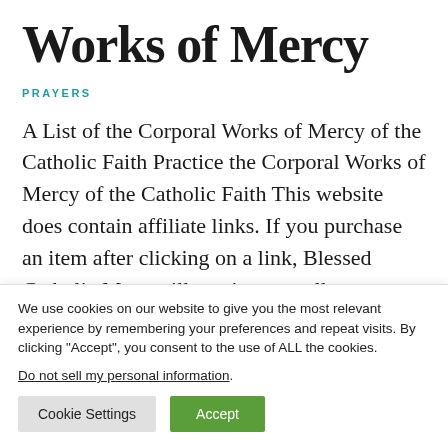Works of Mercy
PRAYERS
A List of the Corporal Works of Mercy of the Catholic Faith Practice the Corporal Works of Mercy of the Catholic Faith This website does contain affiliate links. If you purchase an item after clicking on a link, Blessed Catholic Mom will receive a small commission at no cost to you. As an …
We use cookies on our website to give you the most relevant experience by remembering your preferences and repeat visits. By clicking "Accept", you consent to the use of ALL the cookies. Do not sell my personal information.
Cookie Settings   Accept